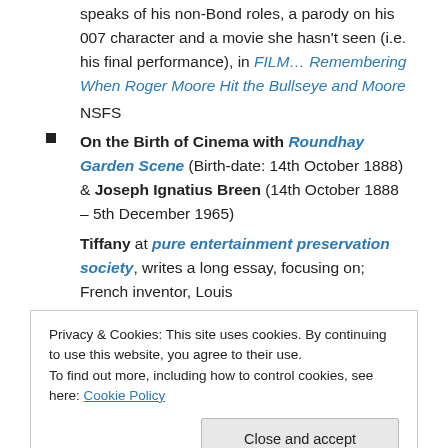speaks of his non-Bond roles, a parody on his 007 character and a movie she hasn't seen (i.e. his final performance), in FILM… Remembering When Roger Moore Hit the Bullseye and Moore
NSFS
On the Birth of Cinema with Roundhay Garden Scene (Birth-date: 14th October 1888) & Joseph Ignatius Breen (14th October 1888 – 5th December 1965)
Tiffany at pure entertainment preservation society, writes a long essay, focusing on; French inventor, Louis
Privacy & Cookies: This site uses cookies. By continuing to use this website, you agree to their use.
To find out more, including how to control cookies, see here: Cookie Policy
Close and accept
Prince, as he was planning to exhibit his imaging